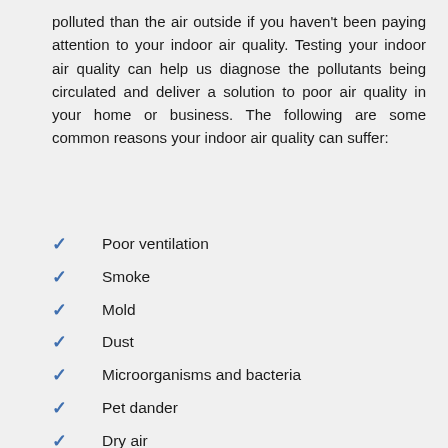polluted than the air outside if you haven't been paying attention to your indoor air quality. Testing your indoor air quality can help us diagnose the pollutants being circulated and deliver a solution to poor air quality in your home or business. The following are some common reasons your indoor air quality can suffer:
Poor ventilation
Smoke
Mold
Dust
Microorganisms and bacteria
Pet dander
Dry air
High humidity